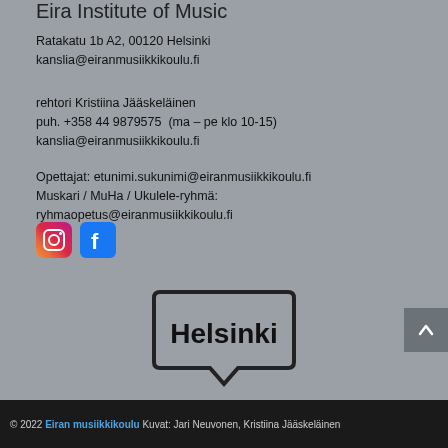Eira Institute of Music
Ratakatu 1b A2, 00120 Helsinki
kanslia@eiranmusiikkikoulu.fi
rehtori Kristiina Jääskeläinen
puh. +358 44 9879575  (ma – pe klo 10-15)
kanslia@eiranmusiikkikoulu.fi
Opettajat: etunimi.sukunimi@eiranmusiikkikoulu.fi
Muskari / MuHa / Ukulele-ryhmä:
ryhmaopetus@eiranmusiikkikoulu.fi
[Figure (logo): Instagram icon (rounded square with camera graphic, gradient orange/pink/purple)]
[Figure (logo): Facebook icon (blue square with white F)]
[Figure (logo): Helsinki city logo: shield/speech-bubble shape with 'Helsinki' text inside]
© 2022 Eiran musiikkikoulu Kuvat: Jari Neuvonen, Kristiina Jääskeläinen